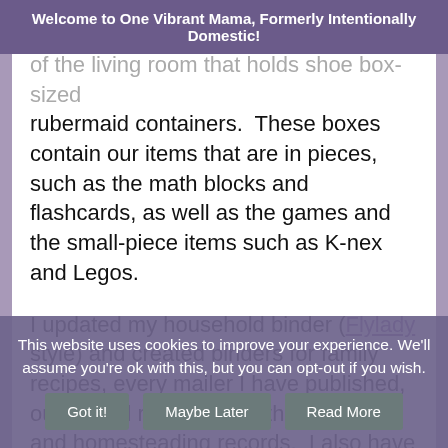Welcome to One Vibrant Mama, Formerly Intentionally Domestic!
of the living room that holds shoe box-sized rubermaid containers.  These boxes contain our items that are in pieces, such as the math blocks and flashcards, as well as the games and the small-piece items such as K-nex and Legos.
I updated my household binder (Flylady style) and created binders for family recipes, every mailer I have published, our school records, and the gardening and homesteading records.  I also have one binder where I keep
This website uses cookies to improve your experience. We'll assume you're ok with this, but you can opt-out if you wish.
Got it!
Maybe Later
Read More